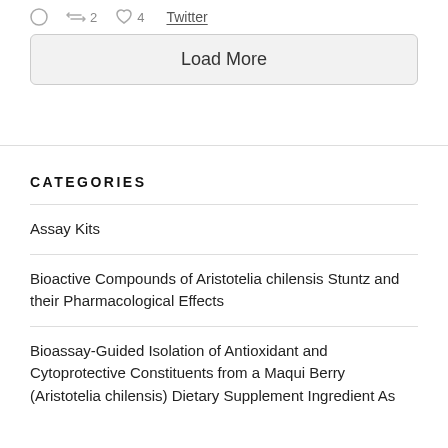[Figure (screenshot): Twitter interaction icons showing comment bubble, retweet count 2, heart/like count 4, and a 'Twitter' link with underline]
Load More
CATEGORIES
Assay Kits
Bioactive Compounds of Aristotelia chilensis Stuntz and their Pharmacological Effects
Bioassay-Guided Isolation of Antioxidant and Cytoprotective Constituents from a Maqui Berry (Aristotelia chilensis) Dietary Supplement Ingredient As